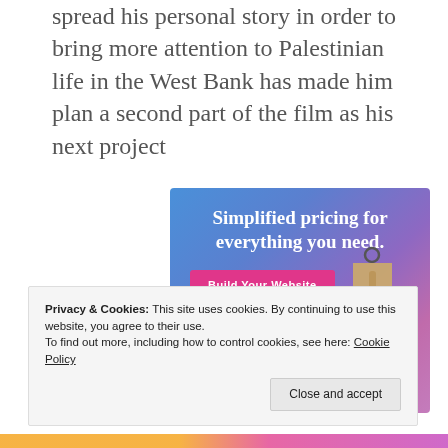spread his personal story in order to bring more attention to Palestinian life in the West Bank has made him plan a second part of the film as his next project
[Figure (illustration): Advertisement banner with blue-to-purple gradient background showing text 'Simplified pricing for everything you need.' with a pink 'Build Your Website' button and a tan price tag image on the right.]
Privacy & Cookies: This site uses cookies. By continuing to use this website, you agree to their use. To find out more, including how to control cookies, see here: Cookie Policy
Close and accept